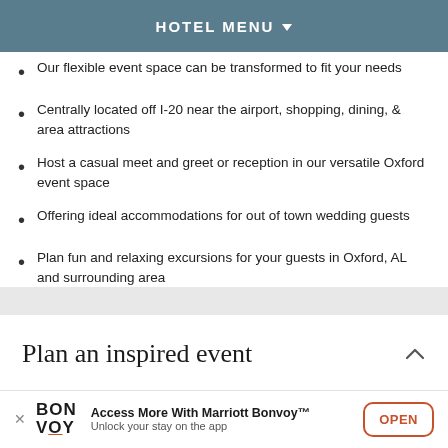HOTEL MENU
Our flexible event space can be transformed to fit your needs
Centrally located off I-20 near the airport, shopping, dining, & area attractions
Host a casual meet and greet or reception in our versatile Oxford event space
Offering ideal accommodations for out of town wedding guests
Plan fun and relaxing excursions for your guests in Oxford, AL and surrounding area
Plan an inspired event
Access More With Marriott Bonvoy™ Unlock your stay on the app